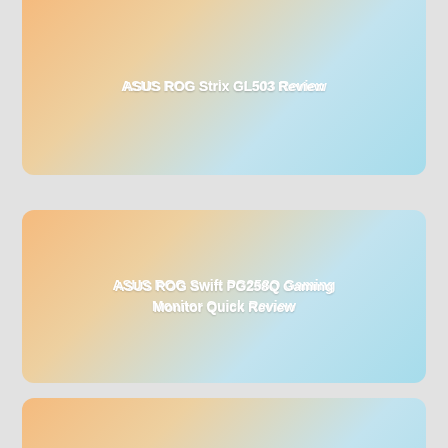ASUS ROG Strix GL503 Review
ASUS ROG Swift PG258Q Gaming Monitor Quick Review
ASUS ROG Rapture GT-AC5300 Gaming Router Review
[Figure (illustration): Partially visible card at bottom with peach-to-light-blue gradient background, no visible text]